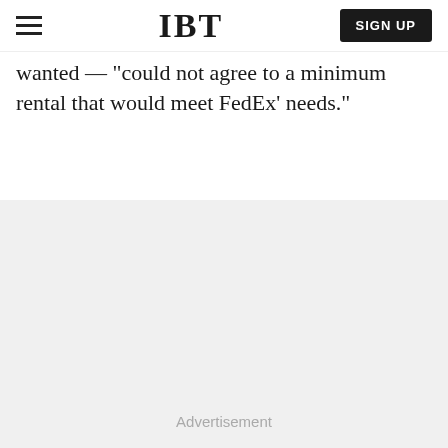IBT | SIGN UP
wanted — "could not agree to a minimum rental that would meet FedEx' needs."
Advertisement